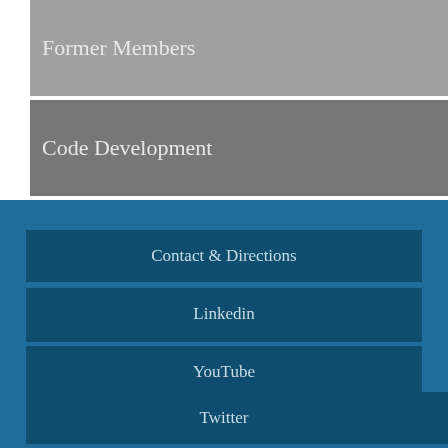Former Members
Code Development
Contact & Directions
Linkedin
YouTube
Twitter
Self Service